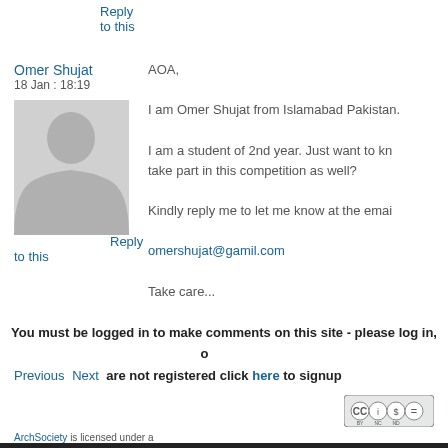Reply to this
Omer Shujat
18 Jan : 18:19
[Figure (illustration): Generic grey silhouette avatar of a person]
Reply to this
AOA,

I am Omer Shujat from Islamabad Pakistan.

I am a student of 2nd year. Just want to know can I take part in this competition as well?

Kindly reply me to let me know at the email:

omershujat@gamil.com

Take care...
You must be logged in to make comments on this site - please log in, or if you are not registered click here to signup
Previous Next
[Figure (logo): Creative Commons BY-NC-ND license badge]
ArchSociety is licensed under a Creative Commons Attribution-Noncommercial-No Derivative 3.0